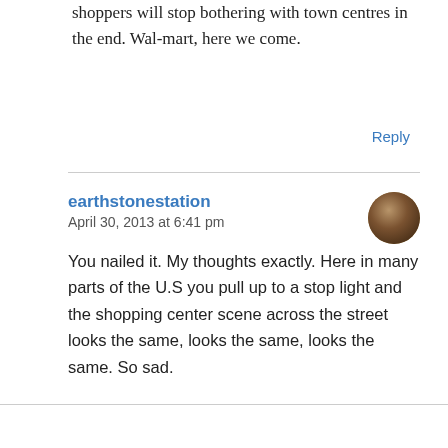shoppers will stop bothering with town centres in the end. Wal-mart, here we come.
Reply
earthstonestation
April 30, 2013 at 6:41 pm
You nailed it. My thoughts exactly. Here in many parts of the U.S you pull up to a stop light and the shopping center scene across the street looks the same, looks the same, looks the same. So sad.